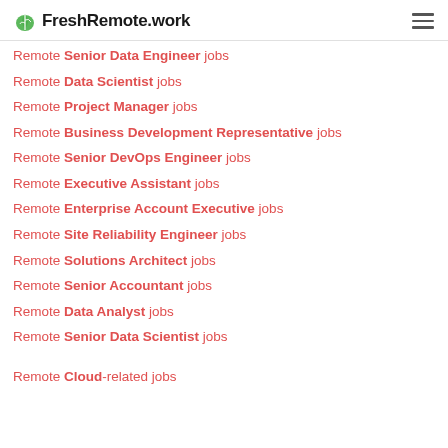FreshRemote.work
Remote Senior Data Engineer jobs
Remote Data Scientist jobs
Remote Project Manager jobs
Remote Business Development Representative jobs
Remote Senior DevOps Engineer jobs
Remote Executive Assistant jobs
Remote Enterprise Account Executive jobs
Remote Site Reliability Engineer jobs
Remote Solutions Architect jobs
Remote Senior Accountant jobs
Remote Data Analyst jobs
Remote Senior Data Scientist jobs
Remote Cloud-related jobs